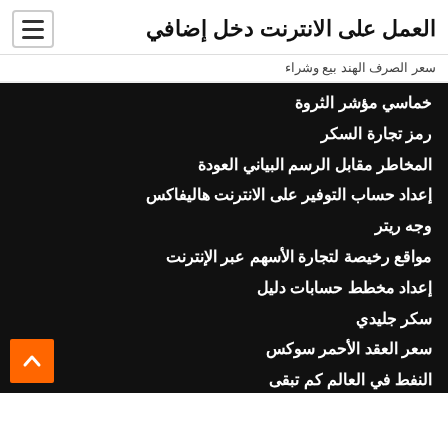العمل على الانترنت دخل إضافي
سعر الصرف الهند بيع وشراء
خماسي مؤشر الثروة
رمز تجارة السكر
المخاطر مقابل الرسم البياني العودة
إعداد حساب التوفير على الانترنت هاليفاكس
وجه ريتر
مواقع رخيصة لتجارة الأسهم عبر الإنترنت
إعداد مخطط حسابات دليل
سكر جليدي
سعر العقد الأحمر سوكس
النفط في العالم كم تبقى